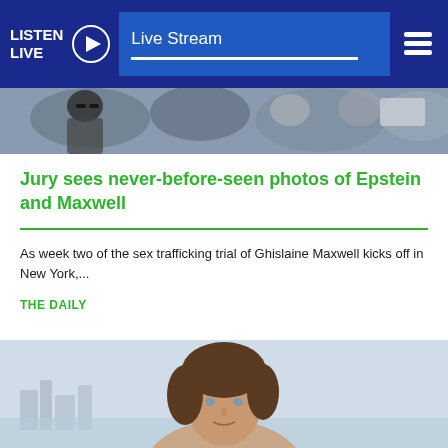LISTEN LIVE   Live Stream
[Figure (photo): Crowd of people photographed from street level, partial view of faces]
Jury sees never-before-seen photos of Epstein and Maxwell
As week two of the sex trafficking trial of Ghislaine Maxwell kicks off in New York,...
THE DAILY
[Figure (photo): Portrait photo of a woman with brown curly hair, standing outdoors with a city skyline in the blurred background]